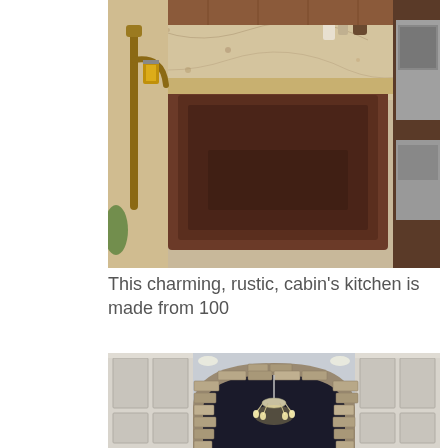[Figure (photo): Close-up photo of a rustic kitchen with a large copper undermount single-basin sink set in a golden granite countertop. A tall copper faucet is on the left, a small decorative lantern is visible on the counter, and stainless steel appliances are seen on the right. Wood cabinetry is visible in the background.]
This charming, rustic, cabin's kitchen is made from 100
[Figure (photo): Photo of a kitchen interior featuring a large curved stone arch with stacked stone veneer framing the range area. White painted cabinetry on both sides, a crystal/chrome chandelier hanging from the ceiling, and recessed lighting above. The ceiling is light gray.]